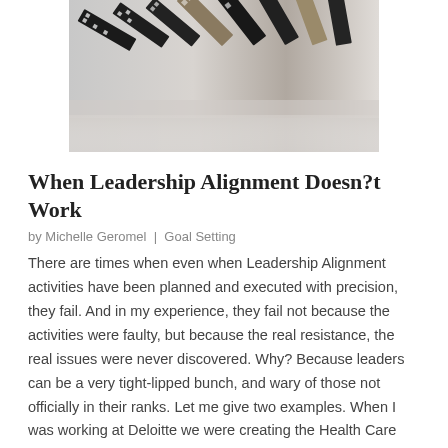[Figure (photo): Falling dominoes arranged in a line on a reflective surface, some dark/black and some lighter/tan colored, partially toppled]
When Leadership Alignment Doesn?t Work
by Michelle Geromel  |  Goal Setting
There are times when even when Leadership Alignment activities have been planned and executed with precision, they fail. And in my experience, they fail not because the activities were faulty, but because the real resistance, the real issues were never discovered. Why? Because leaders can be a very tight-lipped bunch, and wary of those not officially in their ranks. Let me give two examples. When I was working at Deloitte we were creating the Health Care Co-Client information